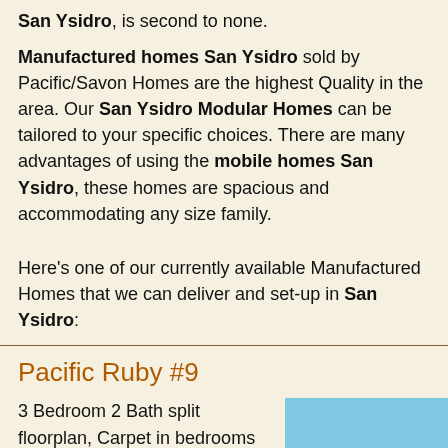San Ysidro, is second to none.
Manufactured homes San Ysidro sold by Pacific/Savon Homes are the highest Quality in the area. Our San Ysidro Modular Homes can be tailored to your specific choices. There are many advantages of using the mobile homes San Ysidro, these homes are spacious and accommodating any size family.
Here's one of our currently available Manufactured Homes that we can deliver and set-up in San Ysidro:
Pacific Ruby #9
3 Bedroom 2 Bath split floorplan, Carpet in bedrooms and living room, Kitchen, bathrooms and utility features upgrated linoleum
[Figure (photo): Exterior photo of a manufactured home showing the roofline and side of the building against a blue sky]